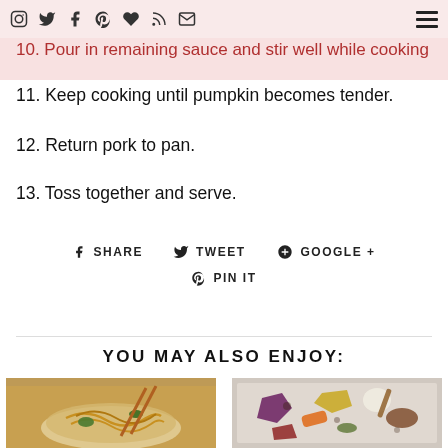Navigation bar with social icons and hamburger menu
9. Add pork (except pumpkin and stir
10. Pour in remaining sauce and stir well while cooking
11. Keep cooking until pumpkin becomes tender.
12. Return pork to pan.
13. Toss together and serve.
f SHARE   t TWEET   G+ GOOGLE +   @ PIN IT
YOU MAY ALSO ENJOY:
[Figure (photo): Bowl of noodles with vegetables and chopsticks]
[Figure (photo): Roasted colorful vegetables on a baking sheet]